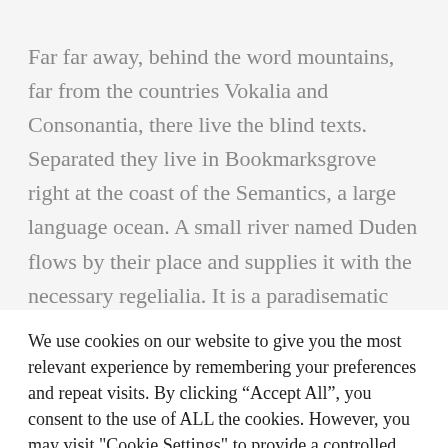Far far away, behind the word mountains, far from the countries Vokalia and Consonantia, there live the blind texts. Separated they live in Bookmarksgrove right at the coast of the Semantics, a large language ocean. A small river named Duden flows by their place and supplies it with the necessary regelialia. It is a paradisematic country, in which roasted parts of sentences fly into your mouth. Even the all-powerful Pointing has no control about the blind texts it is an
We use cookies on our website to give you the most relevant experience by remembering your preferences and repeat visits. By clicking “Accept All”, you consent to the use of ALL the cookies. However, you may visit "Cookie Settings" to provide a controlled consent.